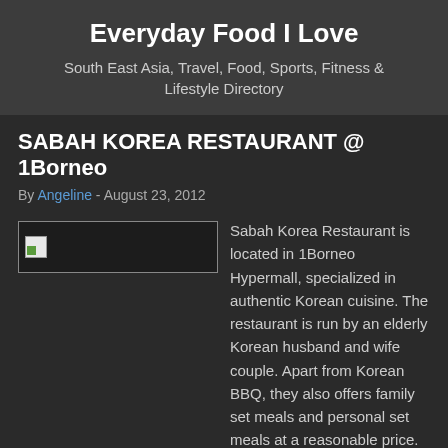Everyday Food I Love
South East Asia, Travel, Food, Sports, Fitness & Lifestyle Directory
SABAH KOREA RESTAURANT @ 1Borneo
By Angeline - August 23, 2012
[Figure (photo): Broken/loading image placeholder with small green icon]
Sabah Korea Restaurant is located in 1Borneo Hypermall, specialized in authentic Korean cuisine. The restaurant is run by an elderly Korean husband and wife couple. Apart from Korean BBQ, they also offers family set meals and personal set meals at a reasonable price.